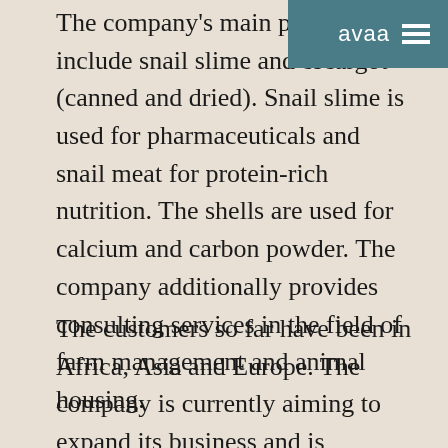The company's main products include snail slime and escargot (canned and dried). Snail slime is used for pharmaceuticals and snail meat for protein-rich nutrition. The shells are used for calcium and carbon powder. The company additionally provides consulting services in the field of farm management and animal housing.
The customers so far have been in Africa, Asia and Europe. The company is currently aiming to expand its business and is searching for Finnish companies that are looking for special alternative sources of protein and meat. The company is also interested in purchasing new technologies and housing innovations for snails and other alternative protein sources.